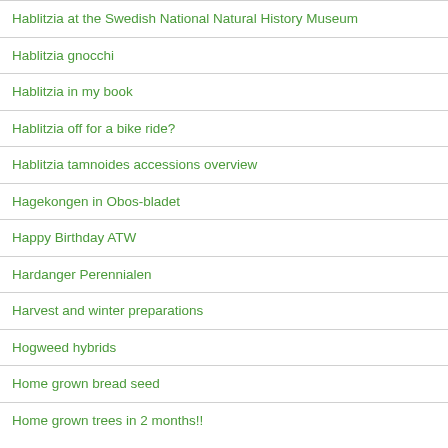Hablitzia at the Swedish National Natural History Museum
Hablitzia gnocchi
Hablitzia in my book
Hablitzia off for a bike ride?
Hablitzia tamnoides accessions overview
Hagekongen in Obos-bladet
Happy Birthday ATW
Hardanger Perennialen
Harvest and winter preparations
Hogweed hybrids
Home grown bread seed
Home grown trees in 2 months!!